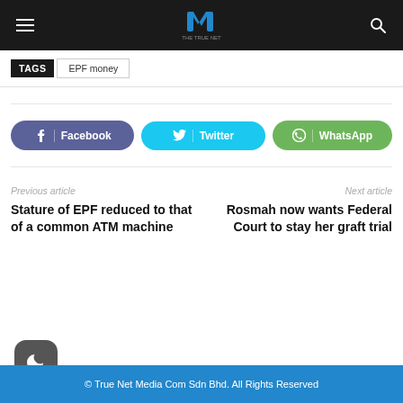THE TRUE NET — navigation header with hamburger menu, logo, and search icon
TAGS  EPF money
[Figure (infographic): Social share buttons: Facebook (purple), Twitter (cyan), WhatsApp (green)]
Previous article
Stature of EPF reduced to that of a common ATM machine
Next article
Rosmah now wants Federal Court to stay her graft trial
© True Net Media Com Sdn Bhd. All Rights Reserved